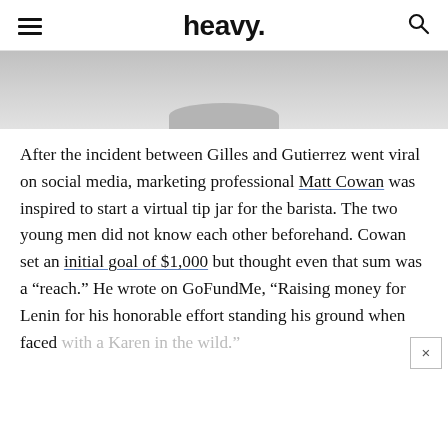heavy.
[Figure (photo): Partial photo showing bottom of a person's torso/clothing on a gray background, cropped at top]
After the incident between Gilles and Gutierrez went viral on social media, marketing professional Matt Cowan was inspired to start a virtual tip jar for the barista. The two young men did not know each other beforehand. Cowan set an initial goal of $1,000 but thought even that sum was a “reach.” He wrote on GoFundMe, “Raising money for Lenin for his honorable effort standing his ground when faced with a Karen in the wild.”